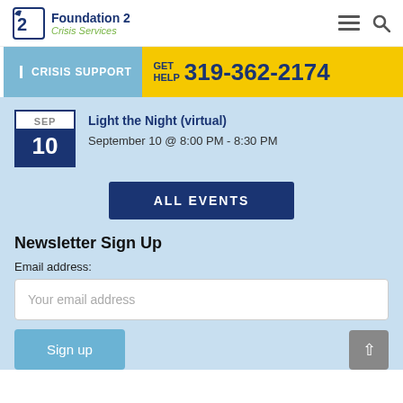Foundation 2 Crisis Services
CRISIS SUPPORT | GET HELP 319-362-2174
[Figure (other): Calendar icon showing SEP 10]
Light the Night (virtual)
September 10 @ 8:00 PM - 8:30 PM
ALL EVENTS
Newsletter Sign Up
Email address:
Your email address
Sign up